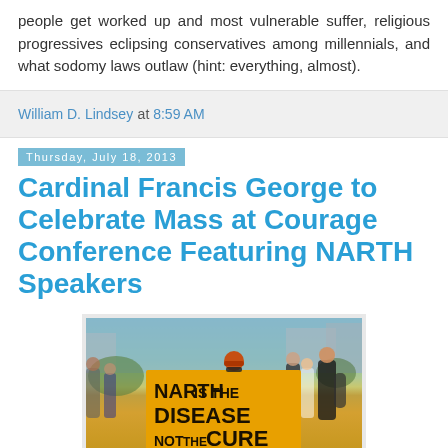people get worked up and most vulnerable suffer, religious progressives eclipsing conservatives among millennials, and what sodomy laws outlaw (hint: everything, almost).
William D. Lindsey at 8:59 AM
Thursday, July 18, 2013
Cardinal Francis George to Celebrate Mass at Courage Conference Featuring NARTH Speakers
[Figure (photo): Protest photo showing a crowd with a person holding an orange sign reading 'NARTH IS THE DISEASE NOT THE CURE']